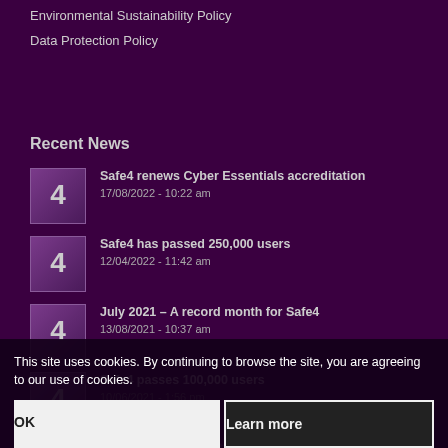Environmental Sustainability Policy
Data Protection Policy
Recent News
Safe4 renews Cyber Essentials accreditation
17/08/2022 - 10:22 am
Safe4 has passed 250,000 users
12/04/2022 - 11:42 am
July 2021 – A record month for Safe4
13/08/2021 - 10:37 am
Safe4 passes 100,000 users
10/06/2021 - 1:56 pm
Screen4 partners with Safe4 for Covid-19 Testing
29/01/2021 - ...
This site uses cookies. By continuing to browse the site, you are agreeing to our use of cookies.
OK
Learn more